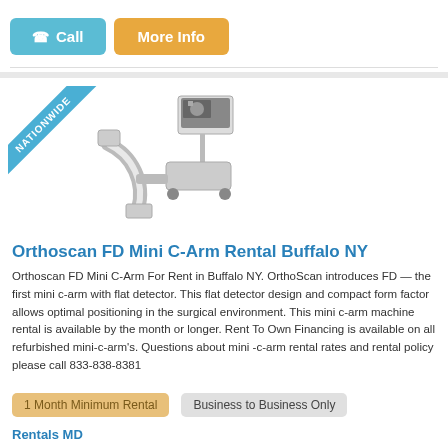[Figure (other): Call and More Info buttons at top]
[Figure (photo): Orthoscan FD Mini C-Arm medical imaging device with NATIONWIDE ribbon badge]
Orthoscan FD Mini C-Arm Rental Buffalo NY
Orthoscan FD Mini C-Arm For Rent in Buffalo NY. OrthoScan introduces FD — the first mini c-arm with flat detector. This flat detector design and compact form factor allows optimal positioning in the surgical environment. This mini c-arm machine rental is available by the month or longer. Rent To Own Financing is available on all refurbished mini-c-arm's. Questions about mini -c-arm rental rates and rental policy please call 833-838-8381
1 Month Minimum Rental
Business to Business Only
Rentals MD